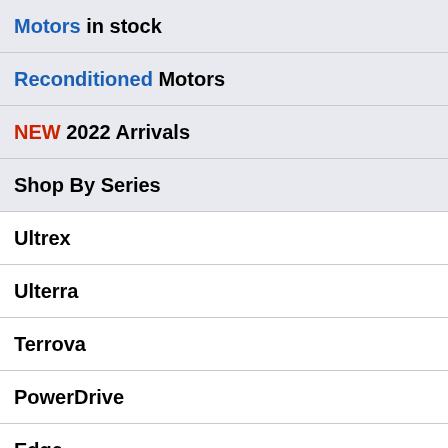Motors in stock ▶
Reconditioned Motors ▶
NEW 2022 Arrivals ▶
Shop By Series ▼
Ultrex
Ulterra
Terrova
PowerDrive
Edge
Fortrex
Maxxum
Traxxis
Password:
Forgot your Password?
LOG IN
CONTINUE SHOPPING